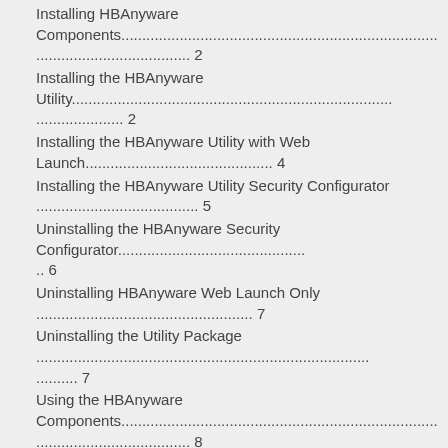Installing HBAnyware Components............................................................ 2
Installing the HBAnyware Utility............................................................. 2
Installing the HBAnyware Utility with Web Launch........................................ 4
Installing the HBAnyware Utility Security Configurator ................................... 5
Uninstalling the HBAnyware Security Configurator........................................ 6
Uninstalling HBAnyware Web Launch Only .................................................. 7
Uninstalling the Utility Package ............................................................. 7
Using the HBAnyware Components........................................................... 8
Starting the HBAnyware Utility............................................................... 8
Starting HBAnyware with Web Launch